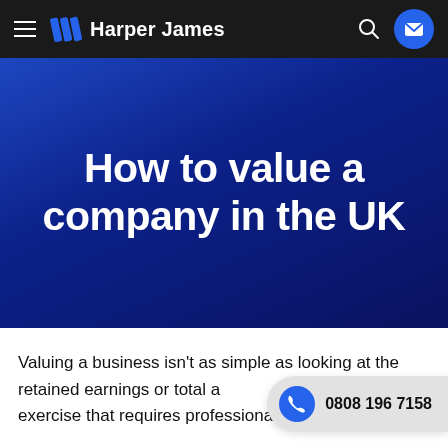Harper James
How to value a company in the UK
Valuing a business isn't as simple as looking at the retained earnings or total assets. It's a subjective exercise that requires professional judgement!